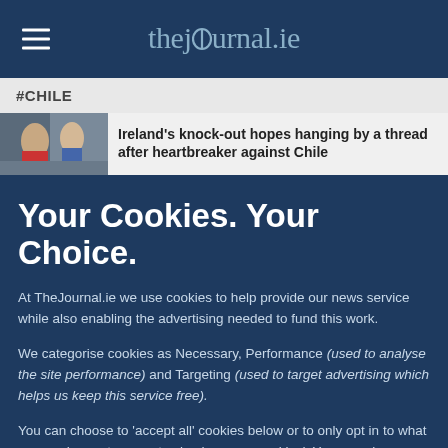thejournal.ie
#CHILE
Ireland's knock-out hopes hanging by a thread after heartbreaker against Chile
Your Cookies. Your Choice.
At TheJournal.ie we use cookies to help provide our news service while also enabling the advertising needed to fund this work.
We categorise cookies as Necessary, Performance (used to analyse the site performance) and Targeting (used to target advertising which helps us keep this service free).
You can choose to 'accept all' cookies below or to only opt in to what you are happy to accept using 'manage cookies'. You can also change your cookie settings at any